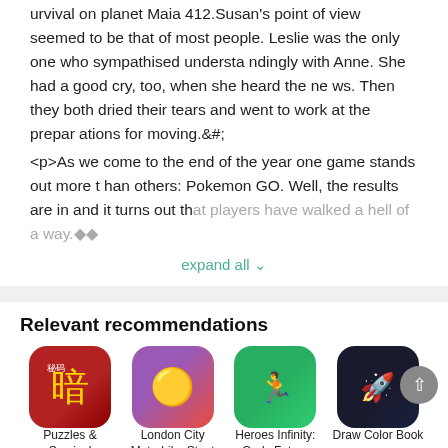urvival on planet Maia 412.Susan's point of view seemed to be that of most people. Leslie was the only one who sympathised understandingly with Anne. She had a good cry, too, when she heard the news. Then they both dried their tears and went to work at the preparations for moving.&#;
<p>As we come to the end of the year one game stands out more than others: Pokemon GO. Well, the results are in and it turns out that players have walked a hell of a way.◆◆
expand all ∨
Relevant recommendations
[Figure (other): App icon for Puzzles & Survival - red background with Chinese character]
Puzzles & Survival
DownLoad
[Figure (other): App icon for London City Motorbike Stunt - Pac-Man style game]
London City Motorbike Stunt
DownLoad
[Figure (other): App icon for Heroes Infinity: Gods Future - pink character on green background]
Heroes Infinity: Gods Future
DownLoad
[Figure (other): App icon for Draw Color Book - dark space themed game]
Draw Color Book
DownLoad